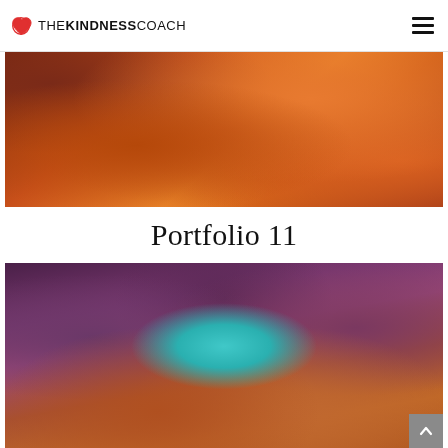THE KINDNESS COACH
[Figure (photo): Close-up photograph of Antelope Canyon slot canyon walls with warm orange and red sandstone swirling patterns]
Portfolio 11
[Figure (photo): Antelope Canyon slot canyon photograph showing purple and orange sandstone walls framing a turquoise blue sky opening in the middle, with rocky formations below]